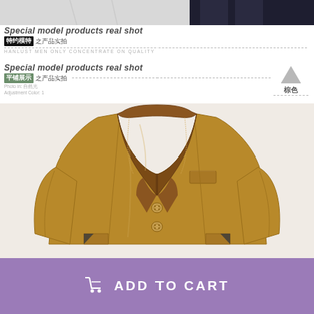[Figure (photo): Top strip showing model wearing dark trousers, partial view]
Special model products real shot 特约模特之产品实拍 HANLUST MEN ONLY CONCENTRATE ON QUALITY
Special model products real shot 平铺展示之产品实拍 棕色
[Figure (photo): Flat lay photograph of a tan/caramel brown leather blazer jacket with notch lapels, two buttons, chest pocket, and lower pockets with decorative metal corner accents]
ADD TO CART